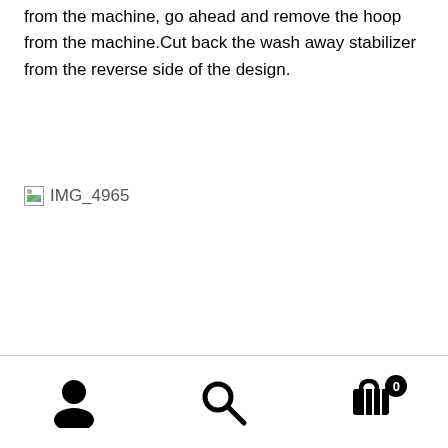from the machine, go ahead and remove the hoop from the machine.Cut back the wash away stabilizer from the reverse side of the design.
[Figure (photo): Broken image placeholder showing 'IMG_4965' with a small broken image icon]
Navigation bar with user icon, search icon, and cart icon with badge showing 0